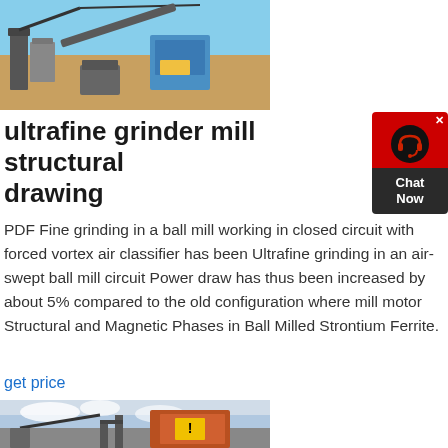[Figure (photo): Industrial mining/grinding machinery on a construction site with blue sky background, cranes and conveyor belts visible]
ultrafine grinder mill structural drawing
PDF Fine grinding in a ball mill working in closed circuit with forced vortex air classifier has been Ultrafine grinding in an air-swept ball mill circuit Power draw has thus been increased by about 5% compared to the old configuration where mill motor Structural and Magnetic Phases in Ball Milled Strontium Ferrite.
get price
[Figure (photo): Industrial machinery or mill structure with orange/yellow coloring against a cloudy sky]